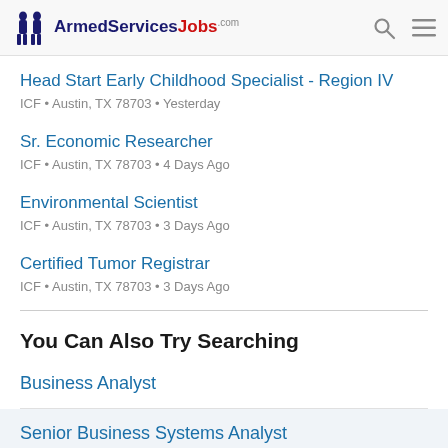ArmedServicesJobs.com
Head Start Early Childhood Specialist - Region IV
ICF • Austin, TX 78703 • Yesterday
Sr. Economic Researcher
ICF • Austin, TX 78703 • 4 Days Ago
Environmental Scientist
ICF • Austin, TX 78703 • 3 Days Ago
Certified Tumor Registrar
ICF • Austin, TX 78703 • 3 Days Ago
You Can Also Try Searching
Business Analyst
Senior Business Systems Analyst
Project Manager